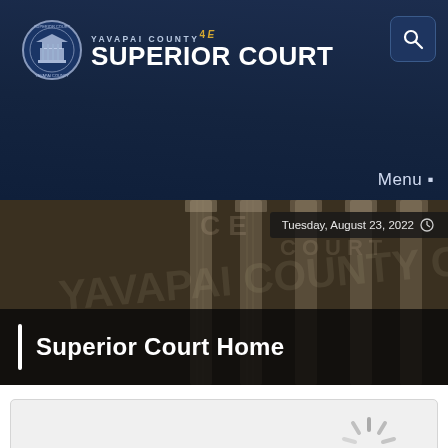[Figure (logo): Yavapai County Superior Court logo with seal and court name]
[Figure (photo): Hero banner with courthouse columns, date badge showing Tuesday, August 23, 2022, and page title Superior Court Home]
[Figure (other): Loading spinner widget in a gray rounded box]
The Superior Court is the trial court of general jurisdiction for the State of Arizona and the judges hear cases which